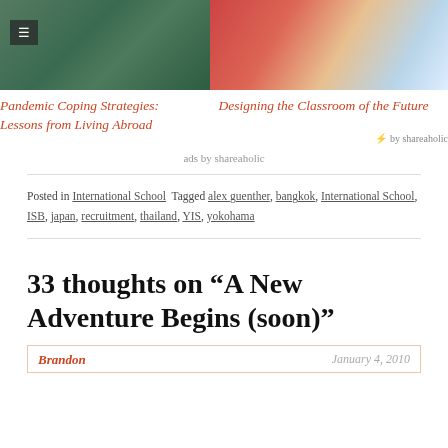[Figure (photo): Left photo showing a green background with curved objects, with a hamburger menu icon overlay]
[Figure (photo): Right photo showing students working on laptops, one wearing a red shirt]
Pandemic Coping Strategies: Lessons from Living Abroad
Designing the Classroom of the Future
by shareaholic
ads by shareaholic
Posted in International School  Tagged alex guenther, bangkok, International School, ISB, japan, recruitment, thailand, YIS, yokohama
33 thoughts on “A New Adventure Begins (soon)”
Brandon
January 4, 2010